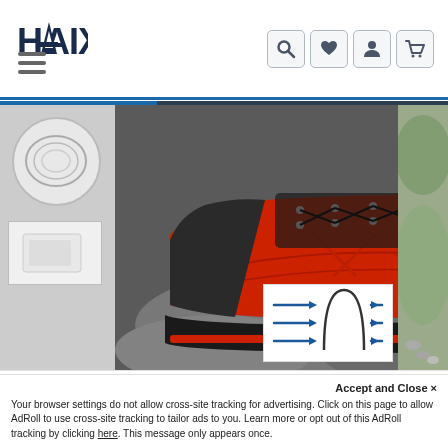[Figure (logo): HAIX brand logo in dark navy blue text with stylized A]
[Figure (screenshot): Navigation header with hamburger menu icon on left and search, heart, profile, cart icons on right]
[Figure (photo): Product photo of a red and black HAIX hiking/mountaineering boot on rocky terrain, shown from the side. Left side shows thumbnail images including a circular close-up and a rectangular detail. Right side shows a partial product image. An inset diagram shows a moisture-wicking cross-section schematic.]
[Figure (photo): Small thumbnail of red and black HAIX boot in purchase bar]
$379.00
Sizes
ADD TO CART
Accept and Close ×
Your browser settings do not allow cross-site tracking for advertising. Click on this page to allow AdRoll to use cross-site tracking to tailor ads to you. Learn more or opt out of this AdRoll tracking by clicking here. This message only appears once.